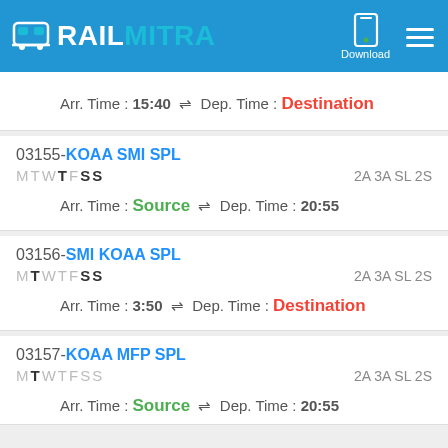RAILMITRA
Arr. Time : 15:40 ⇌ Dep. Time : Destination
03155-KOAA SMI SPL
MTWTFSS	2A 3A SL 2S
Arr. Time : Source ⇌ Dep. Time : 20:55
03156-SMI KOAA SPL
MTWTFSS	2A 3A SL 2S
Arr. Time : 3:50 ⇌ Dep. Time : Destination
03157-KOAA MFP SPL
MTWTFSS	2A 3A SL 2S
Arr. Time : Source ⇌ Dep. Time : 20:55